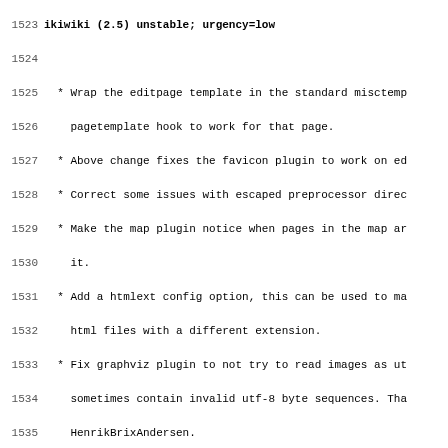1523 ikiwiki (2.5) unstable; urgency=low
1524
1525   * Wrap the editpage template in the standard misctemp pagetemplate hook to work for that page.
1527   * Above change fixes the favicon plugin to work on edit pages.
1528   * Correct some issues with escaped preprocessor directives.
1529   * Make the map plugin notice when pages in the map are removed.
1531   * Add a htmlext config option, this can be used to make ikiwiki output html files with a different extension.
1533   * Fix graphviz plugin to not try to read images as utf-8, as they sometimes contain invalid utf-8 byte sequences. Thanks, HenrikBrixAndersen.
1536   * Fix re-rendering of pages when a linked to page goes away, which broke in version 1.50 with the addition of %destsources. Thanks, Glasser-Camp.
1539   * Add templatefile hook.
1540   * Add pagetemplate plugin, which allows changing the template used for a page. (Not to be confused with the hook of the same name.)
1542   * Add a libdir config option to let ikiwiki load perl plugins, from a user-configurable directory.
1545  -- Joey Hess <joeyh@debian.org>  Thu, 26 Jul 2007 21:4
1547 ikiwiki (2.4) unstable; urgency=low
1548
1549   * Make the toc plugin use html-compatible anchors. most web sites serve ikiwiki xhtml files as text/html so browsers get confused. So it's best for ikiwiki to follow the recommendations in appendix C of the XHTML spec.
1553   * Support building on systems that lack asprintf.
1554   * mercurial getctime is currently broken, apparently mercurial version 0.9.4. Turn the failing test case